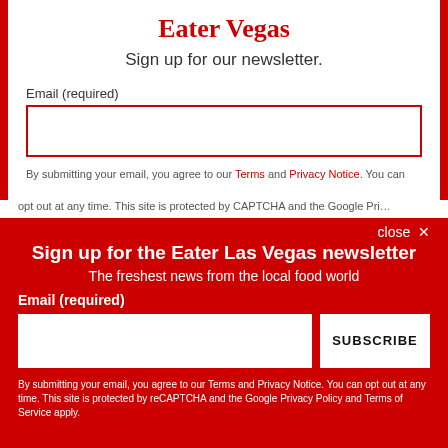Eater Vegas
Sign up for our newsletter.
Email (required)
By submitting your email, you agree to our Terms and Privacy Notice. You can
close ✕
Sign up for the Eater Las Vegas newsletter
The freshest news from the local food world
Email (required)
SUBSCRIBE
By submitting your email, you agree to our Terms and Privacy Notice. You can opt out at any time. This site is protected by reCAPTCHA and the Google Privacy Policy and Terms of Service apply.